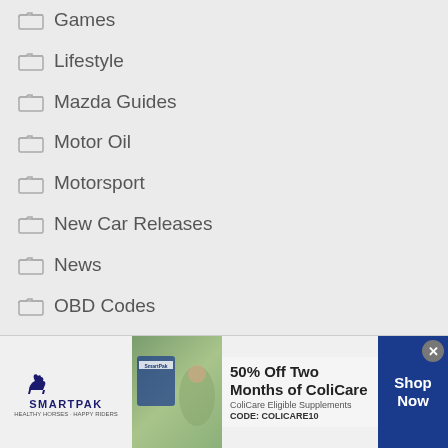Games
Lifestyle
Mazda Guides
Motor Oil
Motorsport
New Car Releases
News
OBD Codes
Ownership Advice
Photography
Product Reviews
Reliability
Suspension & Steering
[Figure (screenshot): SmartPak advertisement banner: 50% Off Two Months of ColiCare, ColiCare Eligible Supplements, CODE: COLICARE10, Shop Now button]